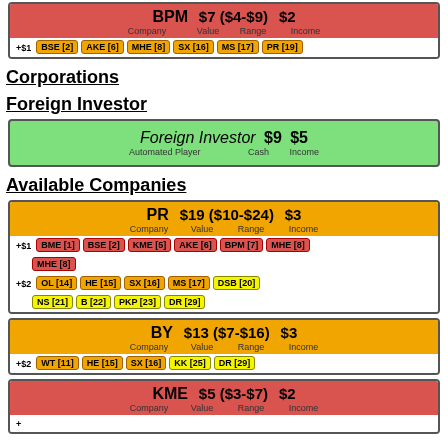[Figure (infographic): BPM company card (red background): Company BPM, Value $7 ($4-$9), Income $2, with tags +$1: BSE [2], AKE [6], MHE [8], SX [16], MS [17], PR [19]]
Corporations
Foreign Investor
[Figure (infographic): Foreign Investor card (green background): Foreign Investor $9 $5, Automated Player, Cash, Income]
Available Companies
[Figure (infographic): PR company card (orange): Company PR, Value $19 ($10-$24), Income $3. +$1 tags: BME [1], BSE [2], KME [5], AKE [6], BPM [7], MHE [8]. +$2 tags: OL [14], HE [15], SX [16], MS [17], DSB [20], NS [21], B [22], PKP [23], DR [29]]
[Figure (infographic): BY company card (orange): Company BY, Value $13 ($7-$16), Income $3. +$2 tags: WT [11], HE [15], SX [16], KK [25], DR [29]]
[Figure (infographic): KME company card (red): Company KME, Value $5 ($3-$7), Income $2. Tags partially visible.]